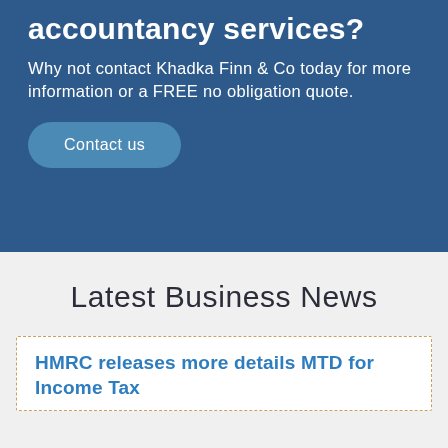accountancy services?
Why not contact Khadka Finn & Co today for more information or a FREE no obligation quote.
Contact us
Latest Business News
HMRC releases more details MTD for Income Tax